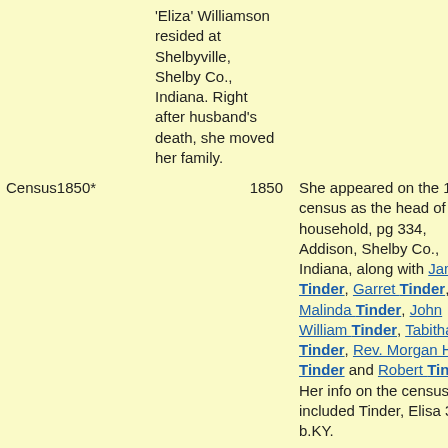'Eliza' Williamson resided at Shelbyville, Shelby Co., Indiana. Right after husband's death, she moved her family.
| Event | Date | Description |
| --- | --- | --- |
| Census1850* | 1850 | She appeared on the 1850 census as the head of household, pg 334, Addison, Shelby Co., Indiana, along with James Tinder, Garret Tinder, Malinda Tinder, John William Tinder, Tabitha M Tinder, Rev. Morgan H Tinder and Robert Tinder . Her info on the census included Tinder, Elisa 38 b.KY. |
| Note* |  | Note(s): She filed for husband's pension which I have a copy of. |
| Death* | between 1857 and 1858 | Elizabeth 'Eliza' Williamson died between 1857 and |